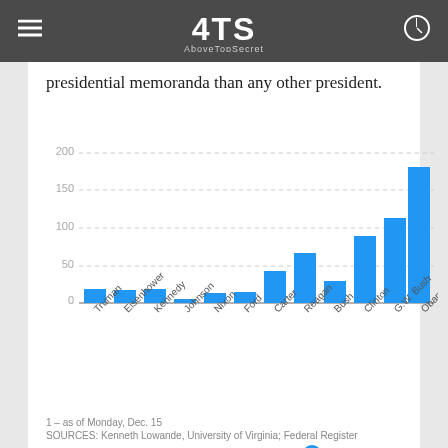4TS AboveTopSecret
presidential memoranda than any other president.
[Figure (bar-chart): Presidential memoranda by president]
1 – as of Monday, Dec. 15
SOURCES: Kenneth Lowande, University of Virginia; Federal Register
Janet Loehrke, USA TODAY